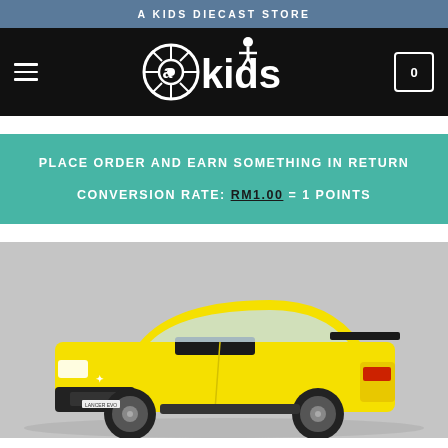A KIDS DIECAST STORE
[Figure (logo): akids diecast store logo with wheel and figure graphic on black nav bar]
PLACE ORDER AND EARN SOMETHING IN RETURN
CONVERSION RATE: RM1.00 = 1 POINTS
[Figure (photo): Yellow Mitsubishi Lancer Evolution diecast model car on display stand, side/front angle view]